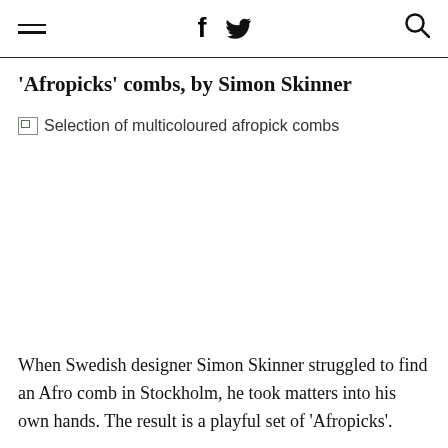≡  f  🐦  🔍
‘Afropicks’ combs, by Simon Skinner
[Figure (photo): Broken image placeholder with alt text: Selection of multicoloured afropick combs]
When Swedish designer Simon Skinner struggled to find an Afro comb in Stockholm, he took matters into his own hands. The result is a playful set of ‘Afropicks’.